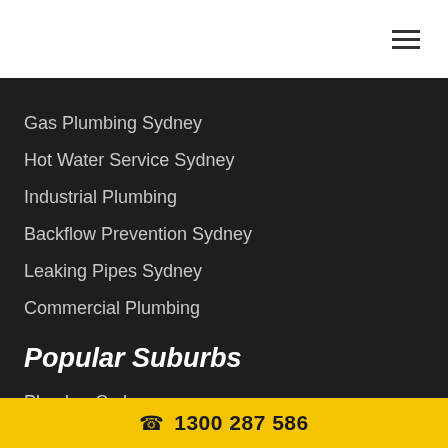Gas Plumbing Sydney
Hot Water Service Sydney
Industrial Plumbing
Backflow Prevention Sydney
Leaking Pipes Sydney
Commercial Plumbing
Popular Suburbs
Plumber Sydney
Plumber Allawah
1300 287 586